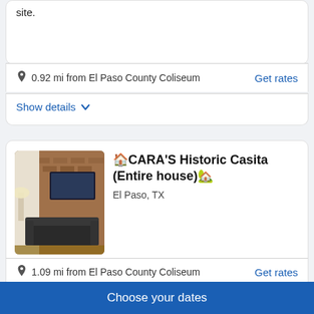site.
0.92 mi from El Paso County Coliseum
Get rates
Show details
[Figure (photo): Interior photo of a living room with brick wall, dark sofa, and flat-screen TV on wall with lamp]
🏠CARA'S Historic Casita (Entire house)🏡
El Paso, TX
1.09 mi from El Paso County Coliseum
Get rates
Show details
Choose your dates